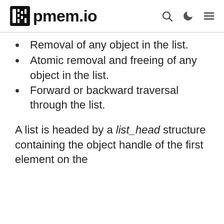pmem.io
Removal of any object in the list.
Atomic removal and freeing of any object in the list.
Forward or backward traversal through the list.
A list is headed by a list_head structure containing the object handle of the first element on the